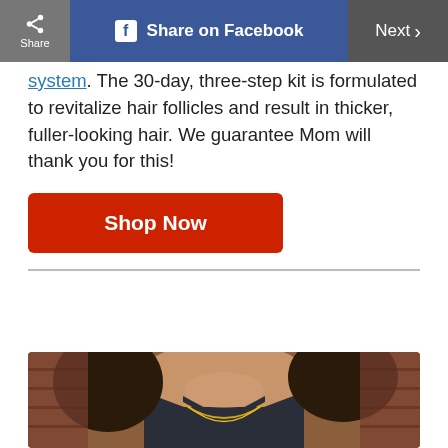Share | Share on Facebook | Next
system. The 30-day, three-step kit is formulated to revitalize hair follicles and result in thicker, fuller-looking hair. We guarantee Mom will thank you for this!
Shop Now
[Figure (photo): Woman wearing a gold chain necklace over a dark blouse, photographed close-up around the neck and collarbone area against a brick background.]